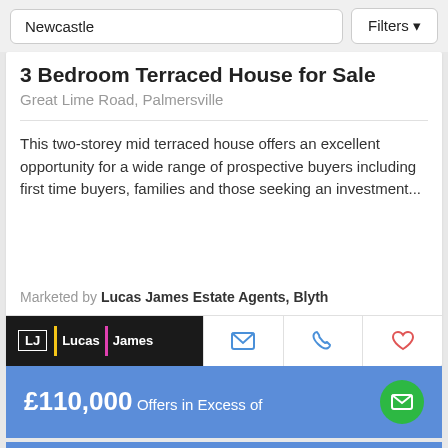Newcastle | Filters
3 Bedroom Terraced House for Sale
Great Lime Road, Palmersville
This two-storey mid terraced house offers an excellent opportunity for a wide range of prospective buyers including first time buyers, families and those seeking an investment...
Marketed by Lucas James Estate Agents, Blyth
[Figure (logo): Lucas James Estate Agents logo on black background]
£110,000 Offers in Excess of